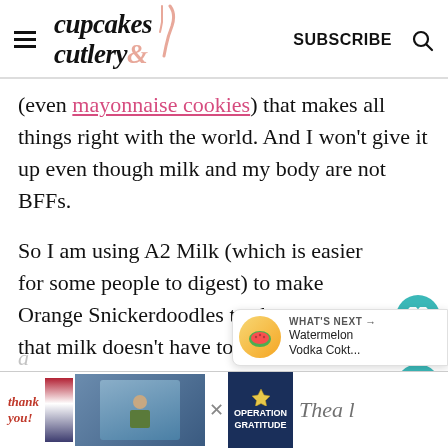cupcakes & cutlery — SUBSCRIBE
(even mayonnaise cookies) that makes all things right with the world. And I won't give it up even though milk and my body are not BFFs.
So I am using A2 Milk (which is easier for some people to digest) to make Orange Snickerdoodles to show you that milk doesn't have to ruin your s…
[Figure (screenshot): What's Next promotional bubble: Watermelon Vodka Cokt... with orange/fruit icon]
[Figure (screenshot): Ad banner: Thank you military appreciation Operation Gratitude advertisement]